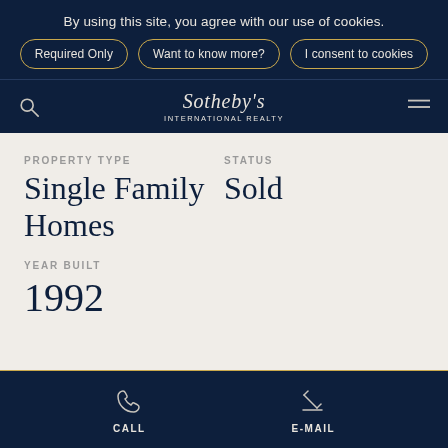By using this site, you agree with our use of cookies.
Required Only | Want to know more? | I consent to cookies
Sotheby's INTERNATIONAL REALTY
PROPERTY TYPE
Single Family Homes
STATUS
Sold
YEAR BUILT
1992
CALL | E-MAIL